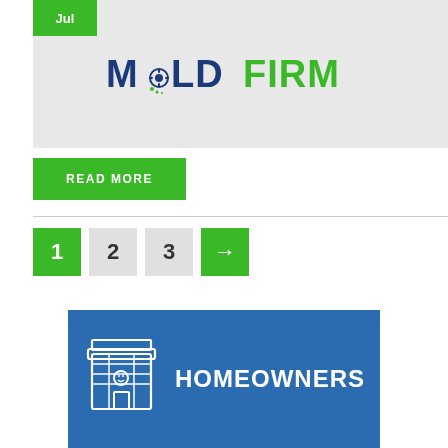[Figure (logo): MoldFirm logo on light gray background with a green 'Jul' date tag in top-left corner]
[Figure (infographic): Green 'READ MORE' button]
[Figure (infographic): Pagination: page 1 (green), page 2 (light gray), page 3 (light gray), arrow/next (green)]
[Figure (infographic): Blue banner with white icon of a homeowner/store and white text 'HOMEOWNERS']